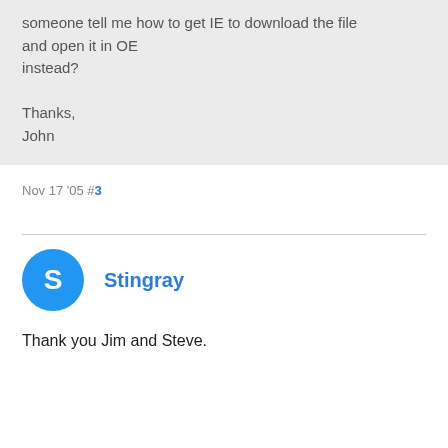someone tell me how to get IE to download the file and open it in OE instead?

Thanks,
John
Nov 17 '05 #3
Stingray
Thank you Jim and Steve.